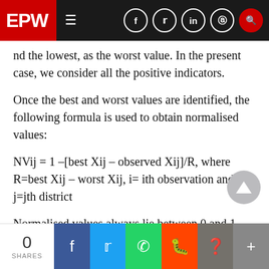EPW
nd the lowest, as the worst value. In the present case, we consider all the positive indicators.
Once the best and worst values are identified, the following formula is used to obtain normalised values:
Normalised values always lie between 0 and 1.
Algebraically, PCs are particular linear combinations of the p random variables X1, X2 ... Xp. Following Johnson and Wichern